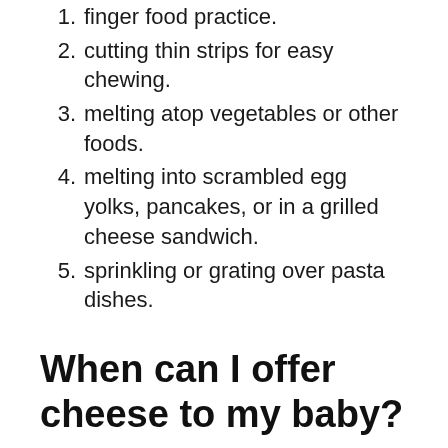finger food practice.
cutting thin strips for easy chewing.
melting atop vegetables or other foods.
melting into scrambled egg yolks, pancakes, or in a grilled cheese sandwich.
sprinkling or grating over pasta dishes.
When can I offer cheese to my baby?
Milk, cheese and yoghurt give your child protein and calcium. Calcium helps build strong bones and teeth. From birth to around 4 to 6 months, babies should only have breastmilk or formula. At around 6 months, you can start to introduce solid